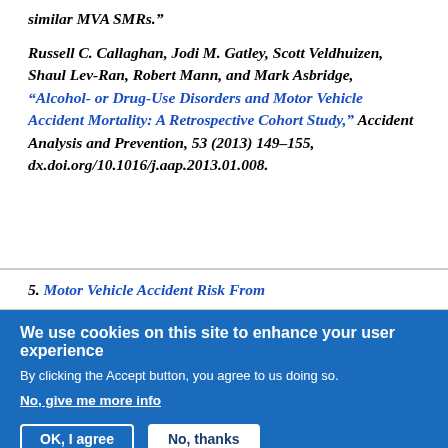similar MVA SMRs.”
Russell C. Callaghan, Jodi M. Gatley, Scott Veldhuizen, Shaul Lev-Ran, Robert Mann, and Mark Asbridge, “Alcohol- or Drug-Use Disorders and Motor Vehicle Accident Mortality: A Retrospective Cohort Study,” Accident Analysis and Prevention, 53 (2013) 149–155, dx.doi.org/10.1016/j.aap.2013.01.008.
5. Motor Vehicle Accident Risk From
We use cookies on this site to enhance your user experience
By clicking the Accept button, you agree to us doing so.
No, give me more info
OK, I agree
No, thanks